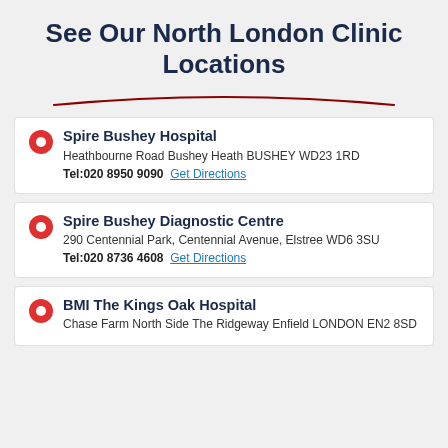See Our North London Clinic Locations
Spire Bushey Hospital
Heathbourne Road Bushey Heath BUSHEY WD23 1RD
Tel:020 8950 9090  Get Directions
Spire Bushey Diagnostic Centre
290 Centennial Park, Centennial Avenue, Elstree WD6 3SU
Tel:020 8736 4608  Get Directions
BMI The Kings Oak Hospital
Chase Farm North Side The Ridgeway Enfield LONDON EN2 8SD